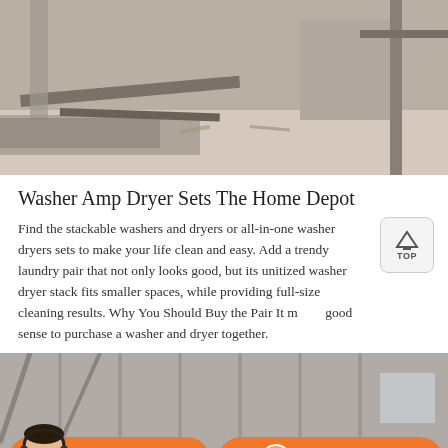[Figure (photo): Industrial or construction site scene with metal bars/beams on dusty ground and concrete pillars in background]
Washer Amp Dryer Sets The Home Depot
Find the stackable washers and dryers or all-in-one washer dryers sets to make your life clean and easy. Add a trendy laundry pair that not only looks good, but its unitized washer dryer stack fits smaller spaces, while providing full-size cleaning results. Why You Should Buy the Pair It makes good sense to purchase a washer and dryer together.
[Figure (photo): Industrial warehouse or factory interior with corrugated metal walls and a customer service agent overlay at bottom with Message and Online Chat buttons]